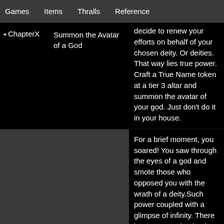Games   Items   Thralls   Reference
◂ ChapterX
Summon the Avatar of a God
decide to renew your efforts on behalf of your chosen deity. Or deities. That way lies true power. Craft a True Name token at a tier 3 altar and summon the avatar of your god. Just don't do it in your house.
For a brief moment, you soared! You saw through the eyes of a god and smote those who opposed you with the wrath of a deity.Such power coupled with a glimpse of infinity. There is no greater domination!
Looking back over the different types of armor that you have used throughout your travels, you can see minute ways in which they can be improved. Some